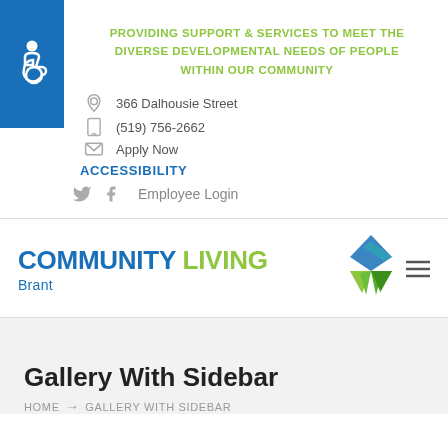PROVIDING SUPPORT & SERVICES TO MEET THE DIVERSE DEVELOPMENTAL NEEDS OF PEOPLE WITHIN OUR COMMUNITY
366 Dalhousie Street
(519) 756-2662
Apply Now
ACCESSIBILITY
Employee Login
[Figure (logo): Community Living Brant logo with blue text 'Community Living' and green 'Living', with a diamond/sunburst icon and three horizontal lines menu icon]
Gallery With Sidebar
HOME → GALLERY WITH SIDEBAR